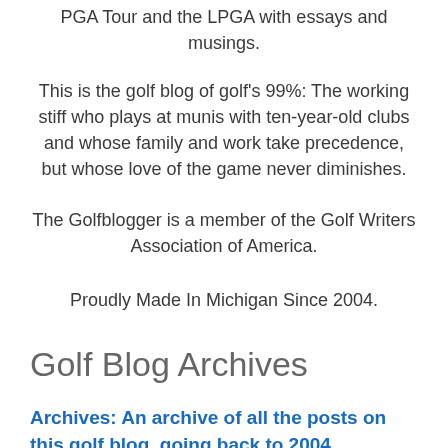PGA Tour and the LPGA with essays and musings.
This is the golf blog of golf's 99%: The working stiff who plays at munis with ten-year-old clubs and whose family and work take precedence, but whose love of the game never diminishes.
The Golfblogger is a member of the Golf Writers Association of America.
Proudly Made In Michigan Since 2004.
Golf Blog Archives
Archives: An archive of all the posts on this golf blog, going back to 2004.